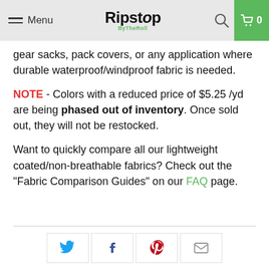Menu | Ripstop ByTheRoll | Search | Cart 0
gear sacks, pack covers, or any application where durable waterproof/windproof fabric is needed.
NOTE - Colors with a reduced price of $5.25 /yd are being phased out of inventory. Once sold out, they will not be restocked.
Want to quickly compare all our lightweight coated/non-breathable fabrics? Check out the "Fabric Comparison Guides" on our FAQ page.
[Figure (other): Social sharing buttons: Twitter, Facebook, Pinterest, Email]